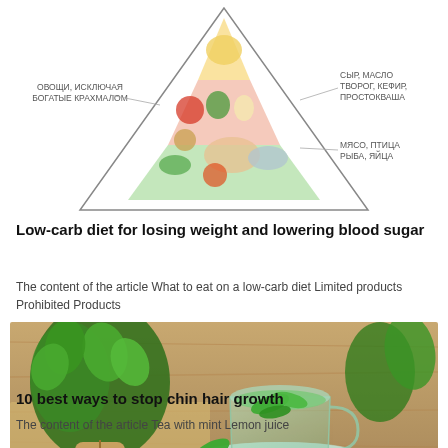[Figure (illustration): Food pyramid diagram with Russian text labels: ОВОЩИ, ИСКЛЮЧАЯ БОГАТЫЕ КРАХМАЛОМ (left), СЫР, МАСЛО ТВОРОГ, КЕФИР, ПРОСТОКВАША (top right), МЯСО, ПТИЦА РЫБА, ЯЙЦА (right). Photos of vegetables, meats, dairy foods arranged in pyramid shape.]
Low-carb diet for losing weight and lowering blood sugar
The content of the article What to eat on a low-carb diet Limited products Prohibited Products
[Figure (photo): Photo of a glass cup of mint tea on a saucer, with fresh mint leaves and a bundle of basil in background on a wooden surface.]
10 best ways to stop chin hair growth
The content of the article Tea with mint Lemon juice